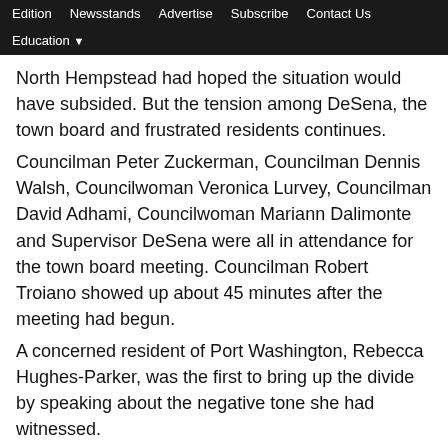Edition  Newsstands  Advertise  Subscribe  Contact Us  Education
North Hempstead had hoped the situation would have subsided. But the tension among DeSena, the town board and frustrated residents continues.
Councilman Peter Zuckerman, Councilman Dennis Walsh, Councilwoman Veronica Lurvey, Councilman David Adhami, Councilwoman Mariann Dalimonte and Supervisor DeSena were all in attendance for the town board meeting. Councilman Robert Troiano showed up about 45 minutes after the meeting had begun.
A concerned resident of Port Washington, Rebecca Hughes-Parker, was the first to bring up the divide by speaking about the negative tone she had witnessed.
Hughes-Parker pointed out that a newly hired spokesperson for the supervisor—Brian Devine—has been releasing comments to the press regarding the pushback of DeSena's transition into